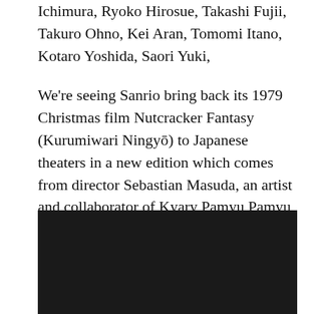Ichimura, Ryoko Hirosue, Takashi Fujii, Takuro Ohno, Kei Aran, Tomomi Itano, Kotaro Yoshida, Saori Yuki,
We're seeing Sanrio bring back its 1979 Christmas film Nutcracker Fantasy (Kurumiwari Ningyō) to Japanese theaters in a new edition which comes from director Sebastian Masuda, an artist and collaborator of Kyary Pamyu Pamyu who helped popularise Harajuku Kawaii Culture. Kyary provides the theme song.
[Figure (photo): Dark/black rectangle representing an embedded video or image placeholder]